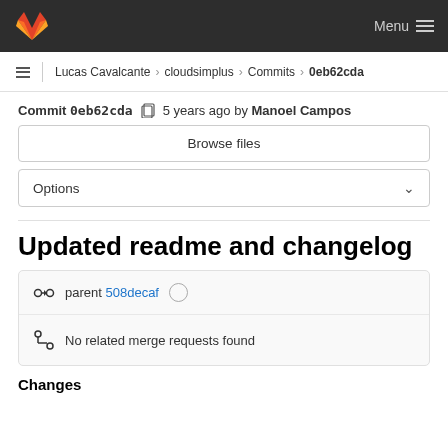GitLab Menu
Lucas Cavalcante > cloudsimplus > Commits > 0eb62cda
Commit 0eb62cda  5 years ago by Manoel Campos
Browse files
Options
Updated readme and changelog
parent 508decaf
No related merge requests found
Changes